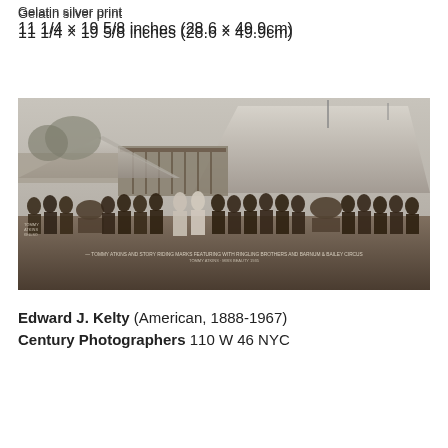Gelatin silver print
11 1/4 × 19 5/8 inches (28.6 × 49.9cm)
[Figure (photo): Vintage black and white gelatin silver print photograph showing a large group of circus performers in costume lined up in front of circus tents. Caption text at the bottom reads about Tommy Atkins and story telling about Ringling Brothers and Barnum & Bailey Circus.]
Edward J. Kelty (American, 1888-1967)
Century Photographers 110 W 46 NYC